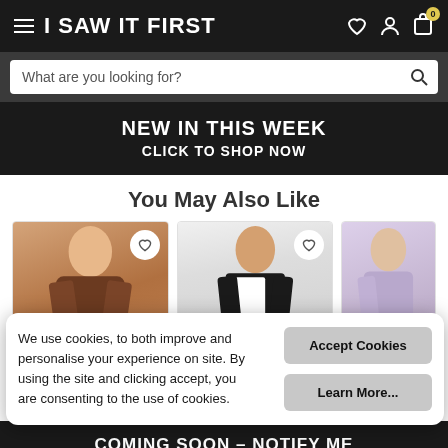I SAW IT FIRST
What are you looking for?
NEW IN THIS WEEK
CLICK TO SHOP NOW
You May Also Like
[Figure (photo): Three fashion product images showing female models wearing: brown blazer, black and white outfit, and lilac blazer]
We use cookies, to both improve and personalise your experience on site. By using the site and clicking accept, you are consenting to the use of cookies.
Accept Cookies
Learn More...
COMING SOON – NOTIFY ME